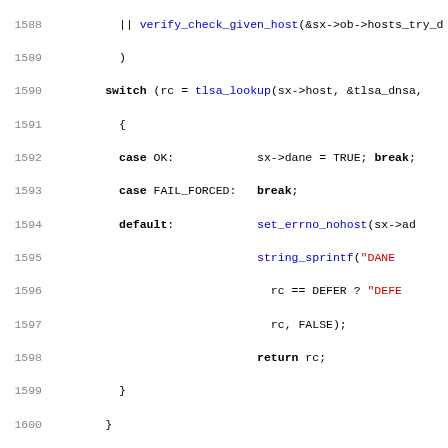[Figure (screenshot): Source code listing lines 1588-1619 of a C program showing DANE/TLSA DNS lookup logic with line numbers, keywords in bold, function calls in blue, and string literals in red.]